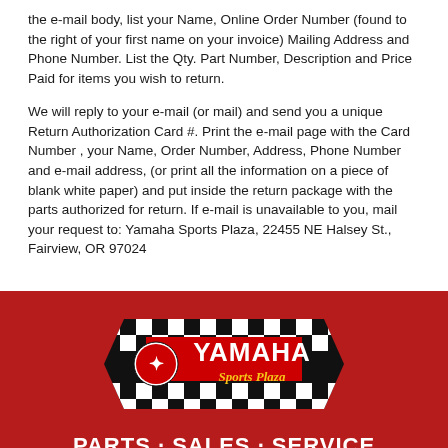the e-mail body, list your Name, Online Order Number (found to the right of your first name on your invoice) Mailing Address and Phone Number.  List the Qty. Part Number, Description and Price Paid for items you wish to return.
We will reply to your e-mail (or mail) and send you a unique Return Authorization Card #.  Print the e-mail page with the Card Number , your Name, Order Number, Address, Phone Number and e-mail address, (or print all the information on a piece of blank white paper) and put inside the return package  with the parts authorized for return. If e-mail is unavailable to you, mail your request to: Yamaha Sports Plaza, 22455 NE Halsey St., Fairview, OR 97024
[Figure (logo): Yamaha Sports Plaza logo - checkered flag background with Yamaha tuning fork emblem and 'Sports Plaza' text in yellow italic script]
PARTS · SALES · SERVICE
22455 North East Halsey
Fairview, OR 97024